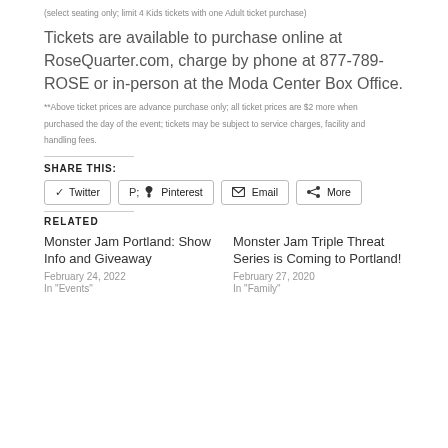(select seating only; limit 4 Kids tickets with one Adult ticket purchase)
Tickets are available to purchase online at RoseQuarter.com, charge by phone at 877-789-ROSE or in-person at the Moda Center Box Office.
**Above ticket prices are advance purchase only; all ticket prices are $2 more when purchased the day of the event; tickets may be subject to service charges, facility and handling fees.
SHARE THIS:
Twitter | Pinterest | Email | More
RELATED
Monster Jam Portland: Show Info and Giveaway
February 24, 2022
In "Events"
Monster Jam Triple Threat Series is Coming to Portland!
February 27, 2020
In "Family"